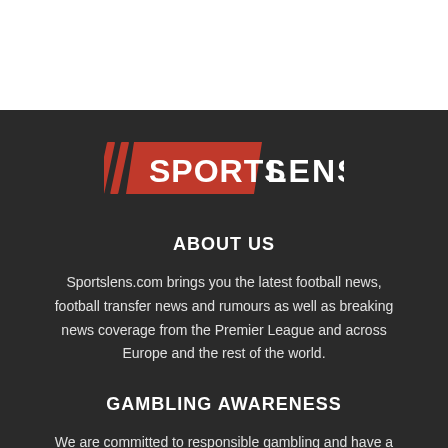[Figure (logo): Sports Lens logo with red background box containing 'SPORTS' in white bold italic text, preceded by two diagonal slash marks, and 'LENS' in white bold text to the right]
ABOUT US
Sportslens.com brings you the latest football news, football transfer news and rumours as well as breaking news coverage from the Premier League and across Europe and the rest of the world.
GAMBLING AWARENESS
We are committed to responsible gambling and have a